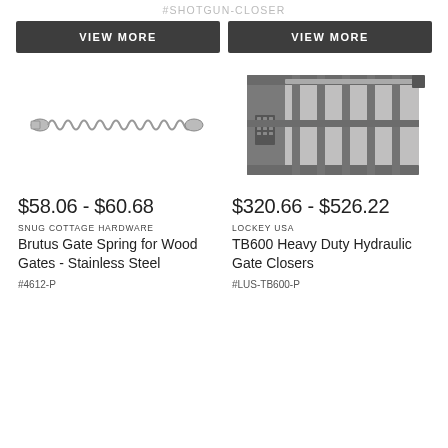#SHOTGUN-CLOSER
VIEW MORE
VIEW MORE
[Figure (photo): Brutus Gate Spring - stainless steel coiled spring with end caps]
[Figure (photo): TB600 Heavy Duty Hydraulic Gate Closers - metal gate frame with closer mechanism]
$58.06 - $60.68
$320.66 - $526.22
SNUG COTTAGE HARDWARE
Brutus Gate Spring for Wood Gates - Stainless Steel
LOCKEY USA
TB600 Heavy Duty Hydraulic Gate Closers
#4612-P
#LUS-TB600-P